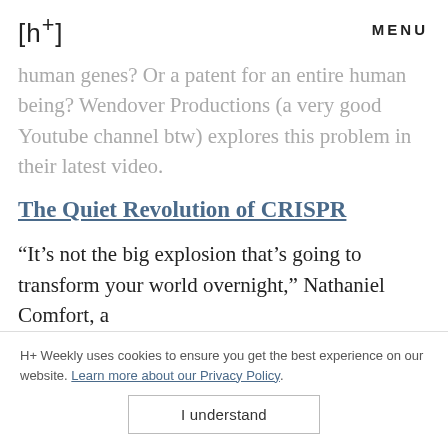[h+] MENU
human genes? Or a patent for an entire human being? Wendover Productions (a very good Youtube channel btw) explores this problem in their latest video.
The Quiet Revolution of CRISPR
“It’s not the big explosion that’s going to transform your world overnight,” Nathaniel Comfort, a
H+ Weekly uses cookies to ensure you get the best experience on our website. Learn more about our Privacy Policy. I understand